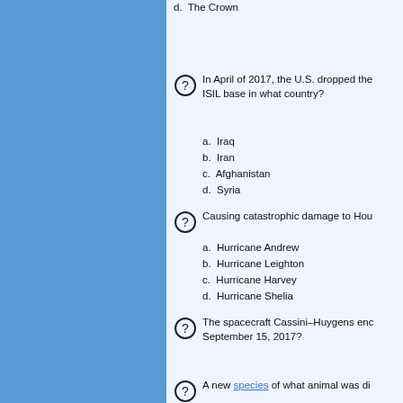d. The Crown
In April of 2017, the U.S. dropped the ISIL base in what country?
a. Iraq
b. Iran
c. Afghanistan
d. Syria
Causing catastrophic damage to Hou...
a. Hurricane Andrew
b. Hurricane Leighton
c. Hurricane Harvey
d. Hurricane Shelia
The spacecraft Cassini–Huygens enc... September 15, 2017?
a. Mercury
b. Saturn
c. Mars
d. Jupiter
A new species of what animal was di...